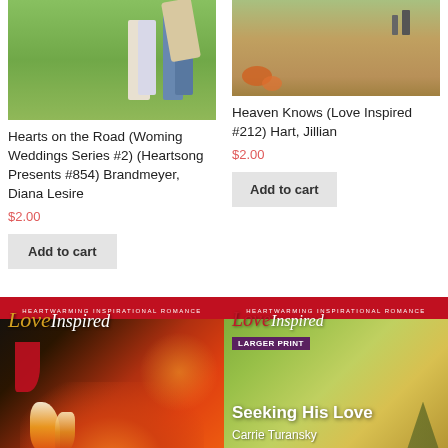[Figure (photo): Two people walking on green grass, partial view from waist down]
Hearts on the Road (Woming Weddings Series #2) (Heartsong Presents #854) Brandmeyer, Diana Lesire
$2.00
Add to cart
[Figure (photo): Autumn outdoor scene with people and leaves on ground]
Heaven Knows (Love Inspired #212) Hart, Jillian
$2.00
Add to cart
[Figure (photo): Love Inspired book cover with Christmas fireplace scene]
[Figure (photo): Love Inspired Larger Print book cover: Seeking His Love by Carrie Turansky, green outdoor scene]